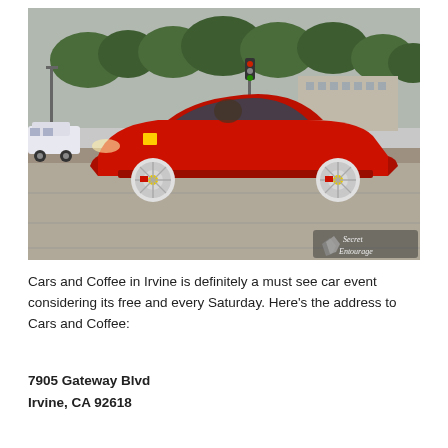[Figure (photo): A red Ferrari sports car driving through a wide intersection with trees and buildings in the background. A watermark in the bottom right reads 'Secret Entourage' with a logo.]
Cars and Coffee in Irvine is definitely a must see car event considering its free and every Saturday. Here's the address to Cars and Coffee:
7905 Gateway Blvd
Irvine, CA 92618